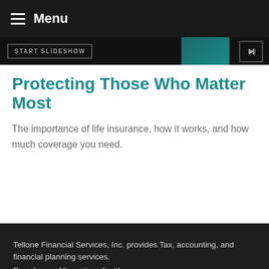Menu
[Figure (screenshot): START SLIDESHOW banner with play button icon on dark background]
Protecting Those Who Matter Most
The importance of life insurance, how it works, and how much coverage you need.
Tellone Financial Services, Inc. provides Tax, accounting, and financial planning services.
Foreclosure Alternatives for Homeowners
The content is developed from sources believed to be providing accurate information. The information in this material is not